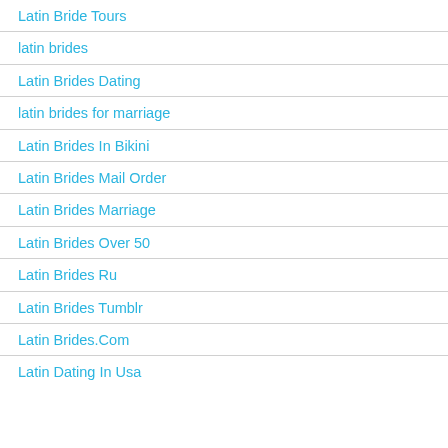Latin Bride Tours
latin brides
Latin Brides Dating
latin brides for marriage
Latin Brides In Bikini
Latin Brides Mail Order
Latin Brides Marriage
Latin Brides Over 50
Latin Brides Ru
Latin Brides Tumblr
Latin Brides.Com
Latin Dating In Usa